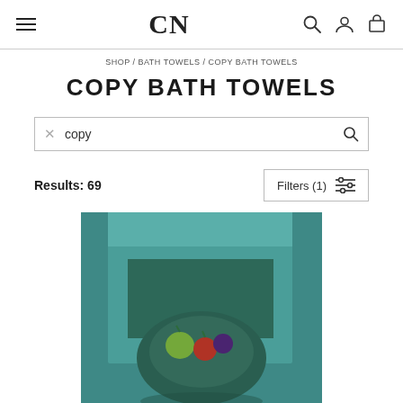CN
SHOP / BATH TOWELS / COPY BATH TOWELS
COPY BATH TOWELS
copy
Results: 69
Filters (1)
[Figure (photo): A teal/green bath towel folded and displayed with a decorative bowl containing fruits including green apple, tomato, and purple item on a teal background]